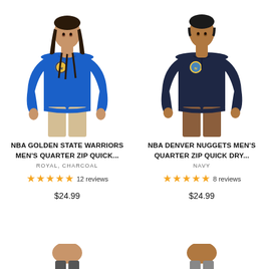[Figure (photo): Man wearing blue NBA Golden State Warriors quarter zip pullover, light skin tone, with braided hair, khaki pants, white background]
NBA GOLDEN STATE WARRIORS MEN'S QUARTER ZIP QUICK...
ROYAL, CHARCOAL
★★★★★ 12 reviews
$24.99
[Figure (photo): Man wearing navy NBA Denver Nuggets quarter zip pullover, medium skin tone, brown pants, white background]
NBA DENVER NUGGETS MEN'S QUARTER ZIP QUICK DRY...
NAVY
★★★★★ 8 reviews
$24.99